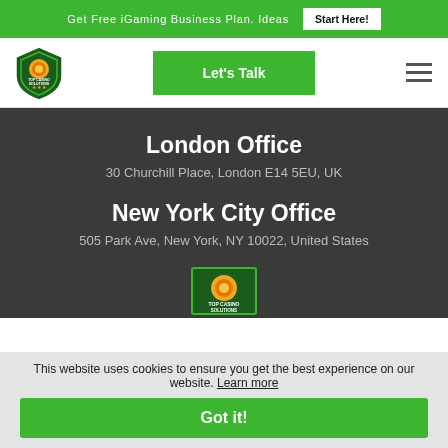Get Free iGaming Business Plan Ideas  Start Here!
[Figure (logo): Top Casino Solutions shield logo with orange poker chip and stars]
Let's Talk
London Office
30 Churchill Place, London E14 5EU, UK
New York City Office
505 Park Ave, New York, NY 10022, United States
[Figure (logo): Top Casino Solutions shield logo large centered]
This website uses cookies to ensure you get the best experience on our website. Learn more
Got it!